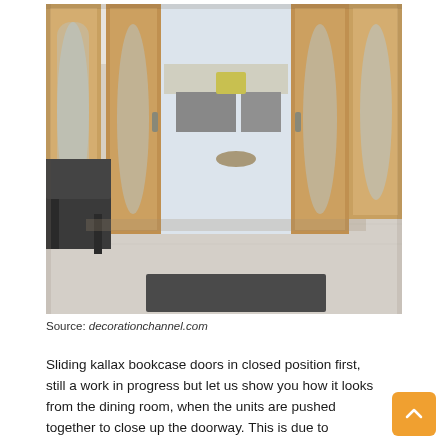[Figure (photo): Interior photo showing oak wood sliding glass panel doors in an open/folded position, revealing a living room with grey sofas, yellow cushion, and large windows. Dark chair visible in foreground left, dark rug on floor in foreground.]
Source: decorationchannel.com
Sliding kallax bookcase doors in closed position first, still a work in progress but let us show you how it looks from the dining room, when the units are pushed together to close up the doorway. This is due to